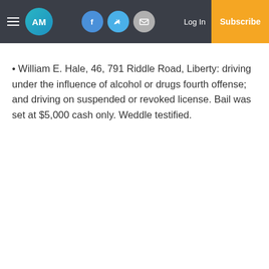AM | Facebook | Twitter | Email | Log In | Subscribe
William E. Hale, 46, 791 Riddle Road, Liberty: driving under the influence of alcohol or drugs fourth offense; and driving on suspended or revoked license. Bail was set at $5,000 cash only. Weddle testified.